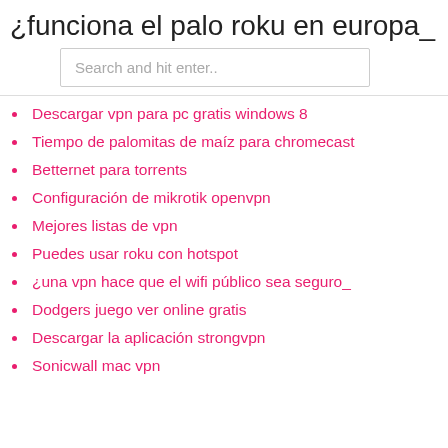¿funciona el palo roku en europa_
Search and hit enter..
Descargar vpn para pc gratis windows 8
Tiempo de palomitas de maíz para chromecast
Betternet para torrents
Configuración de mikrotik openvpn
Mejores listas de vpn
Puedes usar roku con hotspot
¿una vpn hace que el wifi público sea seguro_
Dodgers juego ver online gratis
Descargar la aplicación strongvpn
Sonicwall mac vpn